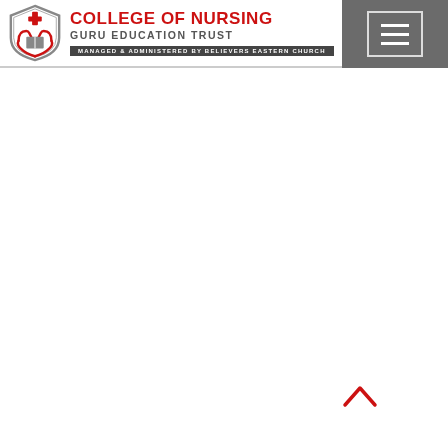[Figure (logo): College of Nursing Guru Education Trust logo with shield icon containing red cross and hands, red bold title text 'COLLEGE OF NURSING', subtitle 'GURU EDUCATION TRUST', and dark bar 'MANAGED & ADMINISTERED BY BELIEVERS EASTERN CHURCH']
[Figure (other): Hamburger menu button (three horizontal lines) on dark gray background in top-right corner]
[Figure (other): Red upward-pointing chevron arrow in bottom-right area of page]